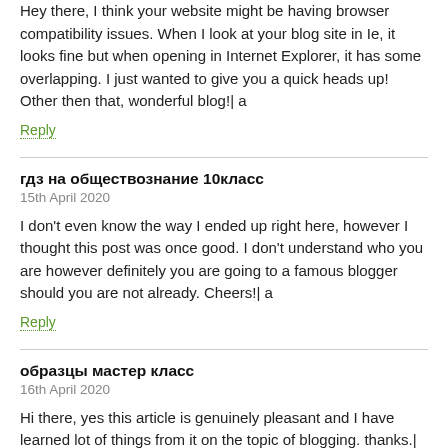Hey there, I think your website might be having browser compatibility issues. When I look at your blog site in Ie, it looks fine but when opening in Internet Explorer, it has some overlapping. I just wanted to give you a quick heads up! Other then that, wonderful blog!| a
Reply
гдз на обществознание 10класс
15th April 2020
I don't even know the way I ended up right here, however I thought this post was once good. I don't understand who you are however definitely you are going to a famous blogger should you are not already. Cheers!| a
Reply
образцы мастер класс
16th April 2020
Hi there, yes this article is genuinely pleasant and I have learned lot of things from it on the topic of blogging. thanks.| a
Reply